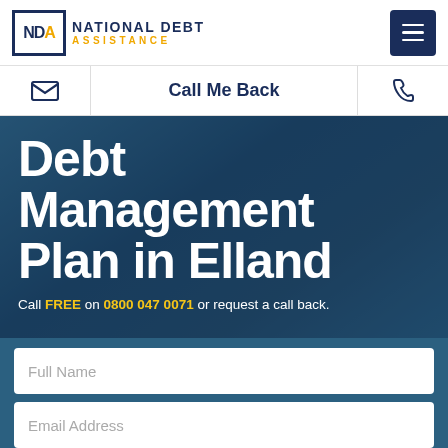[Figure (logo): National Debt Assistance (NDA) logo with dark navy and gold colours, with hamburger menu icon on the right]
Call Me Back
Debt Management Plan in Elland
Call FREE on 0800 047 0071 or request a call back.
Full Name
Email Address